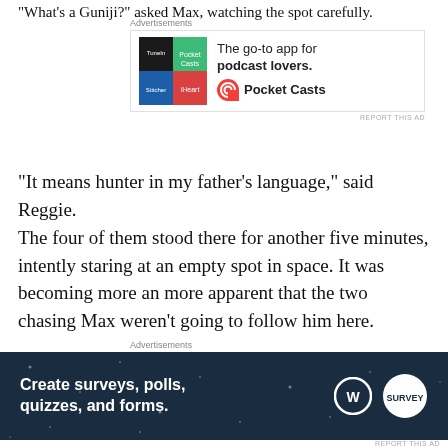“What’s a Guniji?” asked Max, watching the spot carefully.
[Figure (screenshot): Pocket Casts advertisement: colorful app icon squares, text 'The go-to app for podcast lovers.' with Pocket Casts logo]
“It means hunter in my father’s language,” said Reggie.
The four of them stood there for another five minutes, intently staring at an empty spot in space.  It was becoming more an more apparent that the two chasing Max weren’t going to follow him here.
Marshall spoke first, turning his back and walking towards the ladder.  “Lets get off this wall.  If they show back up we’ll deal with them then.  There is still a lot to do.”
[Figure (screenshot): WordPress advertisement banner: dark navy background, white text 'Create surveys, polls, quizzes, and forms.' with WordPress and SurveyMonkey logos]